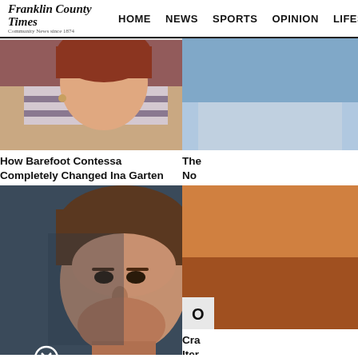Franklin County Times | HOME | NEWS | SPORTS | OPINION | LIFESTYLES
[Figure (photo): Woman with red hair and striped scarf, partial view - article thumbnail for Barefoot Contessa / Ina Garten story]
How Barefoot Contessa Completely Changed Ina Garten
[Figure (photo): Young man with brown hair smiling, partial view - article thumbnail for Ashton Kutcher tragedy story. Has a close/X button overlay.]
The Tragedy Of Ashton Kutcher Is Just Plain Sad
[Figure (photo): Partial image at bottom of page, darker tones]
[Figure (photo): Partial right-side article image, light blue background - truncated article beginning with 'The' and 'No']
[Figure (photo): Partial right-side article image, orange/brown tones with label 'O' - truncated article beginning with 'Cra' and 'Iter']